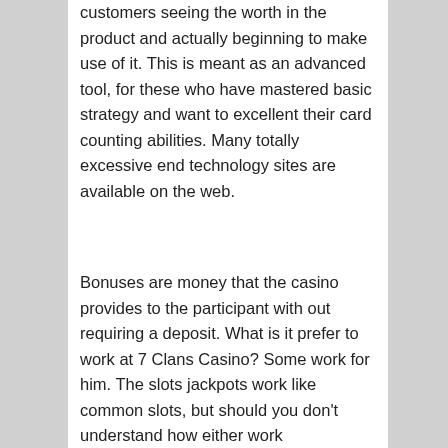customers seeing the worth in the product and actually beginning to make use of it. This is meant as an advanced tool, for these who have mastered basic strategy and want to excellent their card counting abilities. Many totally excessive end technology sites are available on the web.
Bonuses are money that the casino provides to the participant with out requiring a deposit. What is it prefer to work at 7 Clans Casino? Some work for him. The slots jackpots work like common slots, but should you don't understand how either work successfully three or more spinning cylinders have to be stopped on the same image for varying